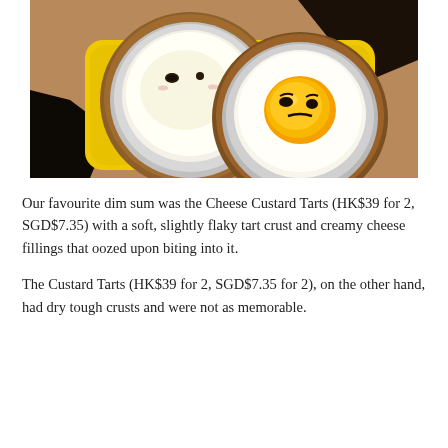[Figure (photo): Two egg tarts (dim sum Cheese Custard Tarts) with Gudetama-style faces drawn in chocolate, sitting on a yellow rectangular plate on a wooden table. The left tart has a white egg-white top with a sleepy face; the right tart has a bright yellow egg-yolk center with an annoyed face.]
Our favourite dim sum was the Cheese Custard Tarts (HK$39 for 2, SGD$7.35) with a soft, slightly flaky tart crust and creamy cheese fillings that oozed upon biting into it.
The Custard Tarts (HK$39 for 2, SGD$7.35 for 2), on the other hand, had dry tough crusts and were not as memorable.